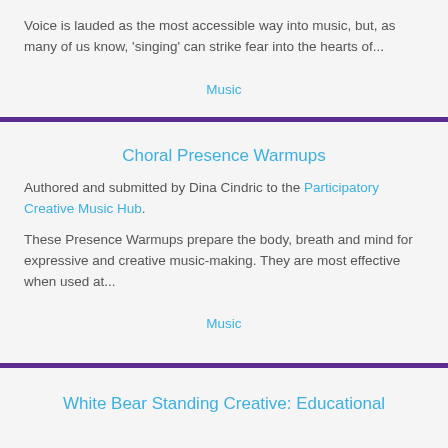Voice is lauded as the most accessible way into music, but, as many of us know, 'singing' can strike fear into the hearts of...
Music
Choral Presence Warmups
Authored and submitted by Dina Cindric to the Participatory Creative Music Hub.
These Presence Warmups prepare the body, breath and mind for expressive and creative music-making. They are most effective when used at...
Music
White Bear Standing Creative: Educational